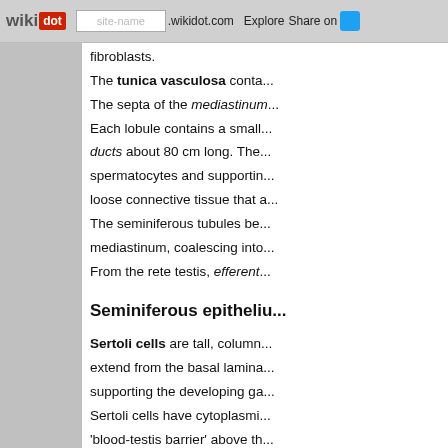wikidot | site-name .wikidot.com | Explore | Share on
fibroblasts. The tunica vasculosa conta... The septa of the mediastinum... Each lobule contains a small... ducts about 80 cm long. The... spermatocytes and supporting... loose connective tissue that a... The seminiferous tubules be... mediastinum, coalescing into... From the rete testis, efferent...
Seminiferous epitheliu...
Sertoli cells are tall, column... extend from the basal lamina... supporting the developing ga... Sertoli cells have cytoplasmi... 'blood-testis barrier' above th... of the developing spermatoc...
The remaining epithelium is s...